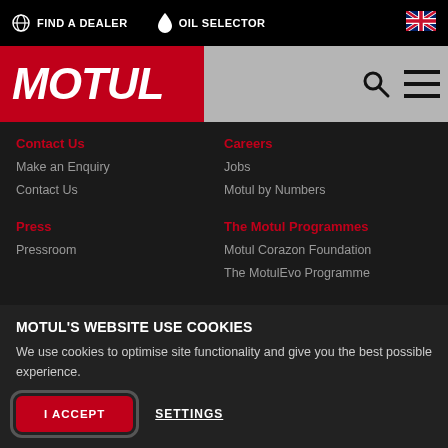FIND A DEALER | OIL SELECTOR
[Figure (logo): MOTUL logo in white italic bold text on red background]
Contact Us
Make an Enquiry
Contact Us
Careers
Jobs
Motul by Numbers
Press
Pressroom
The Motul Programmes
Motul Corazon Foundation
The MotulEvo Programme
MOTUL'S WEBSITE USE COOKIES
We use cookies to optimise site functionality and give you the best possible experience.
I ACCEPT
SETTINGS